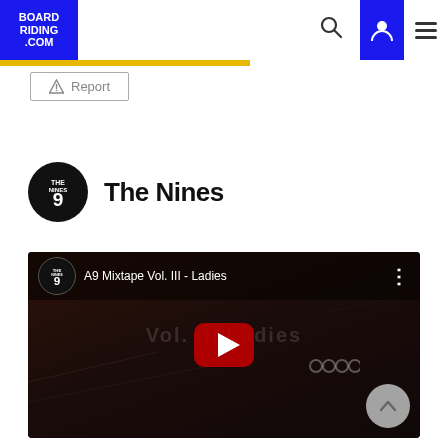BOARDRIDING.COM — navigation header with logo, search, user, and menu icons
Report
The Nines
[Figure (screenshot): YouTube embedded video player showing 'A9 Mixtape Vol. III - Ladies' with The Nines channel avatar, video title bar, large red play button in center, watermark text 'Vol. III Ladies', Audi rings logo visible in background, scroll-to-top circular button at bottom right.]